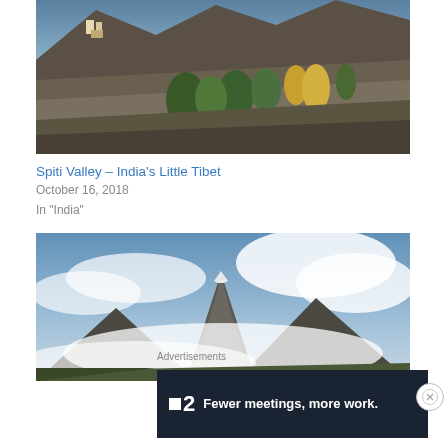[Figure (photo): Mountain valley landscape with terraced fields, monastery on rocky hill, trees with autumn foliage including golden yellow poplars, in Spiti Valley India]
Spiti Valley – India's Little Tibet
October 16, 2018
In "India"
[Figure (photo): Mountain landscape with dramatic cloud-covered peaks, rocky mountain summit in center, low clouds and mist in the valley, under a partly cloudy blue sky]
Advertisements
[Figure (other): Dark navy advertisement banner for a product called F2 with text: Fewer meetings, more work.]